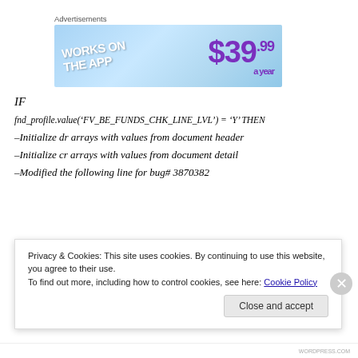[Figure (other): Advertisement banner with blue gradient background showing 'WORKS ON THE APP' text on left and '$39.99 a year' price on right in purple]
IF
fnd_profile.value('FV_BE_FUNDS_CHK_LINE_LVL') = 'Y' THEN
–Initialize dr arrays with values from document header
–Initialize cr arrays with values from document detail
–Modified the following line for bug# 3870382
Privacy & Cookies: This site uses cookies. By continuing to use this website, you agree to their use.
To find out more, including how to control cookies, see here: Cookie Policy
Close and accept